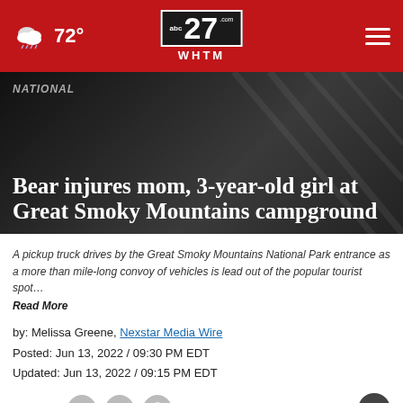72° | abc27 WHTM.com
NATIONAL
Bear injures mom, 3-year-old girl at Great Smoky Mountains campground
A pickup truck drives by the Great Smoky Mountains National Park entrance as a more than mile-long convoy of vehicles is lead out of the popular tourist spot… Read More
by: Melissa Greene, Nexstar Media Wire
Posted: Jun 13, 2022 / 09:30 PM EDT
Updated: Jun 13, 2022 / 09:15 PM EDT
SHARE
[Figure (screenshot): Advertisement banner: GET DOWN WITH YOUR BLOOD PRESSURE - ACT NOW - In partnership with the Office of Minority Health and Health Resources & Services Administration. Logos: ad council, American Heart Association, AMA]